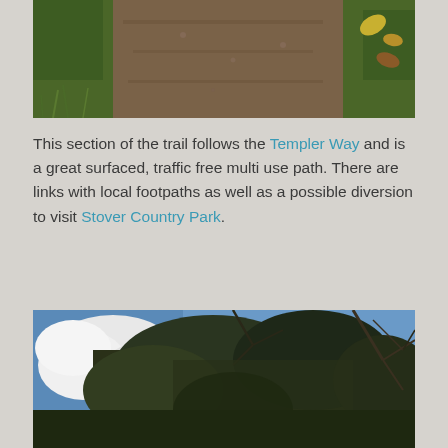[Figure (photo): Outdoor trail path with grass on sides and autumn leaves on dirt ground]
This section of the trail follows the Templer Way and is a great surfaced, traffic free multi use path. There are links with local footpaths as well as a possible diversion to visit Stover Country Park.
[Figure (photo): Looking up through large old trees with bare branches and ivy against a blue sky with white clouds]